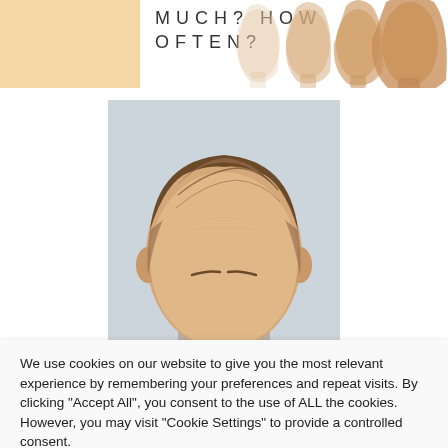[Figure (illustration): Top banner with beige/peach left block, large spaced text reading MUCH? HOW OFTEN?, and a series of face profile photographs fading from left to right on the right side]
[Figure (photo): Close-up photograph of a man's head showing styled brown hair with a fade cut against a light grey background]
We use cookies on our website to give you the most relevant experience by remembering your preferences and repeat visits. By clicking "Accept All", you consent to the use of ALL the cookies. However, you may visit "Cookie Settings" to provide a controlled consent.
Cookie Settings
Accept All